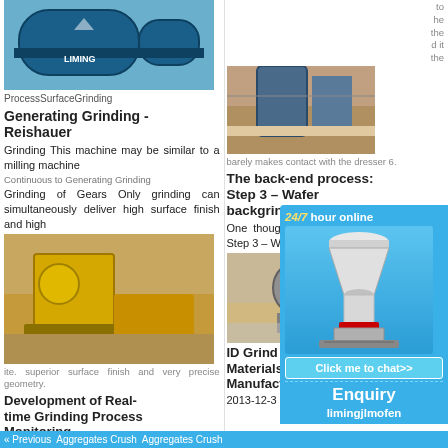[Figure (photo): Blue industrial ball mill / grinding machine with LIMING branding]
ProcessSurfaceGrinding Generating Grinding - Grinding This machine may be similar to a milling machine Used mainly to generating surface of gears Only grinding can simultaneously deliver high surface finish and high
Generating Grinding - Reishauer
Continuous Generating Grinding of Gears Only grinding can simultaneously deliver high surface finish and high
[Figure (photo): Yellow construction/mining machinery in a dusty outdoor setting]
is that, ng ng sly val ite. superior surface finish and very precise geometry.
Development of Real-time Grinding Process Monitoring
2021-6-1  The success of the manufacturing process which involves grinding as one of the stages depends solely on the
[Figure (photo): Large industrial crusher machine at a construction site]
barely makes contact with the dresser 6.
The back-end process: Step 3 – Wafer backgrinding ...
One thought on " The back-end process:  Step 3 – Wafer backgrindi
[Figure (photo): Close-up of crusher/grinding equipment outdoor]
ID Grinding Materials: Manufactu
2013-12-3 Styles, Manufacturer Grinding
[Figure (illustration): Chat widget with white cone crusher illustration, 24/7 hour online text, Click me to chat>> button, Enquiry section, limingjlmofen text]
to the he the d it the
« Previous  Aggregates Crush Aggregates Crush